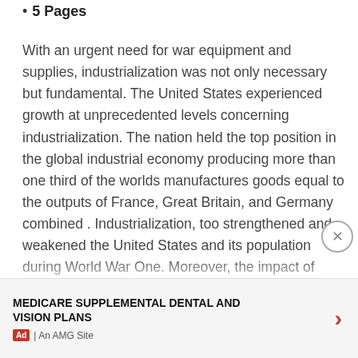5 Pages
With an urgent need for war equipment and supplies, industrialization was not only necessary but fundamental. The United States experienced growth at unprecedented levels concerning industrialization. The nation held the top position in the global industrial economy producing more than one third of the worlds manufactures goods equal to the outputs of France, Great Britain, and Germany combined . Industrialization, too strengthened and weakened the United States and its population during World War One. Moreover, the impact of industrialization on the experience of the United States during the war remained significant.
MEDICARE SUPPLEMENTAL DENTAL AND VISION PLANS | An AMG Site